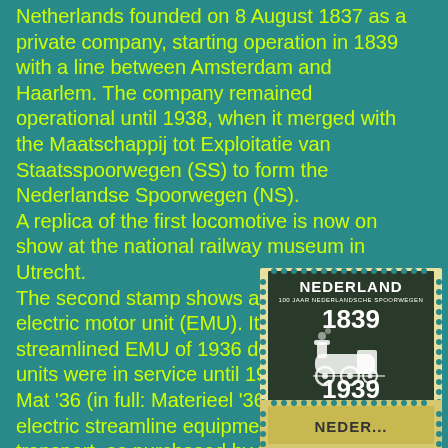Netherlands founded on 8 August 1837 as a private company, starting operation in 1839 with a line between Amsterdam and Haarlem. The company remained operational until 1938, when it merged with the Maatschappij tot Exploitatie van Staatsspoorwegen (SS) to form the Nederlandse Spoorwegen (NS). A replica of the first locomotive is now on show at the national railway museum in Utrecht. The second stamp shows a contemporary electric motor unit (EMU). It is the first streamlined EMU of 1936 design. These units were in service until 1968. Mat '36 (in full: Materieel '36), is the name of electric streamline equipment for passenger transport, as purchased by the Dutch Railways in 1936 to 1942. As with a number of other series, the name is derived from the year in which the equipment was designed and
[Figure (photo): A Dutch postage stamp (Nederland) showing a vintage locomotive from 1839 to 1939, labeled '5 CENT 5', dark green color with perforated edges, and a small yellow strip at the bottom with text starting with 'NEDER...']